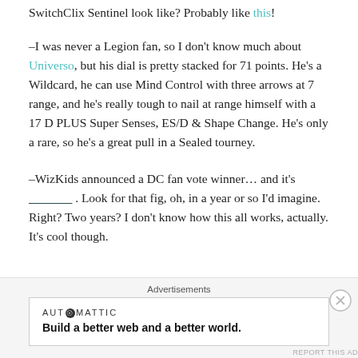SwitchClix Sentinel look like? Probably like this!
–I was never a Legion fan, so I don't know much about Universo, but his dial is pretty stacked for 71 points. He's a Wildcard, he can use Mind Control with three arrows at 7 range, and he's really tough to nail at range himself with a 17 D PLUS Super Senses, ES/D & Shape Change. He's only a rare, so he's a great pull in a Sealed tourney.
–WizKids announced a DC fan vote winner… and it's _______ . Look for that fig, oh, in a year or so I'd imagine. Right? Two years? I don't know how this all works, actually. It's cool though.
Advertisements
AUTOMATTIC
Build a better web and a better world.